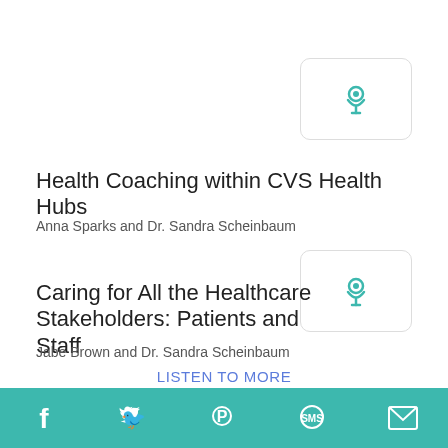[Figure (other): Podcast icon button (rounded rectangle with teal podcast symbol) top right]
Health Coaching within CVS Health Hubs
Anna Sparks and Dr. Sandra Scheinbaum
[Figure (other): Podcast icon button (rounded rectangle with teal podcast symbol) middle right]
Caring for All the Healthcare Stakeholders: Patients and Staff
Jabe Brown and Dr. Sandra Scheinbaum
LISTEN TO MORE
FMCA podcasts
Social media icons: Facebook, Twitter, Pinterest, SMS, Email